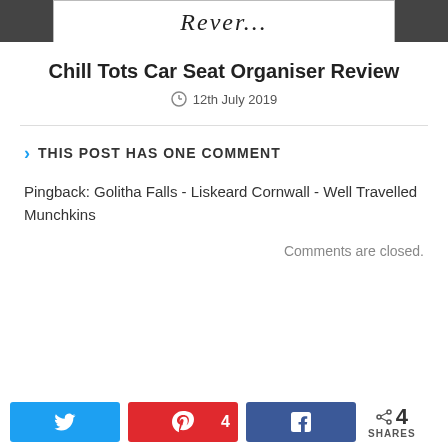[Figure (photo): Top portion of a blog post image showing a cursive/script text logo or title partially visible]
Chill Tots Car Seat Organiser Review
12th July 2019
THIS POST HAS ONE COMMENT
Pingback: Golitha Falls - Liskeard Cornwall - Well Travelled Munchkins
Comments are closed.
4 SHARES